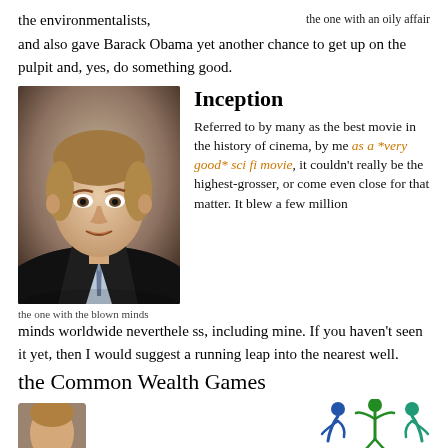the environmentalists,
the one with an oily affair
and also gave Barack Obama yet another chance to get up on the pulpit and, yes, do something good.
[Figure (photo): Portrait photo of a man in a dark suit and patterned tie, smiling, outdoors.]
the one with the blown minds
Inception
Referred to by many as the best movie in the history of cinema, by me as a *very good* sci fi movie, it couldn't really be the highest-grosser, or come even close for that matter. It blew a few million minds worldwide nevertheless, including mine. If you haven't seen it yet, then I would suggest a running leap into the nearest well.
the Common Wealth Games
[Figure (photo): Partial portrait of a person at bottom of page.]
[Figure (logo): Commonwealth Games logo with stylized human figures in blue and green.]